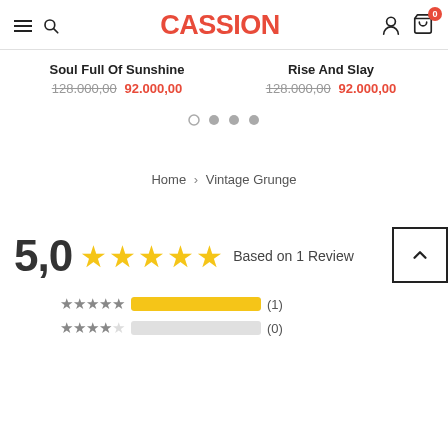CASSION — navigation header with hamburger menu, search, user icon, and cart (0)
Soul Full Of Sunshine
128.000,00  92.000,00
Rise And Slay
128.000,00  92.000,00
[Figure (other): Carousel pagination dots — one empty circle and three filled grey circles]
Home > Vintage Grunge
5,0 ★★★★★ Based on 1 Review
★★★★★ (1)
★★★★☆ (0)